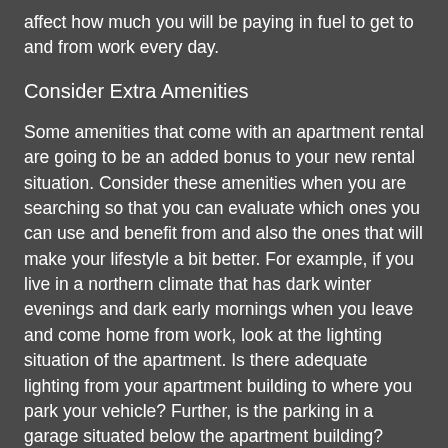affect how much you will be paying in fuel to get to and from work every day.
Consider Extra Amenities
Some amenities that come with an apartment rental are going to be an added bonus to your new rental situation. Consider these amenities when you are searching so that you can evaluate which ones you can use and benefit from and also the ones that will make your lifestyle a bit better. For example, if you live in a northern climate that has dark winter evenings and dark early mornings when you leave and come home from work, look at the lighting situation of the apartment. Is there adequate lighting from your apartment building to where you park your vehicle? Further, is the parking in a garage situated below the apartment building?
When you are at home in your new apartment relaxing, will there be extra amenities to help you unwind, such as a swimming pool or hot tub? These items are not necessities but can make living there extra enjoyable, especially on hot summer days. Some apartment communities provide a dog walking area or a dog park that is fenced in where you can take your pet outside to enjoy